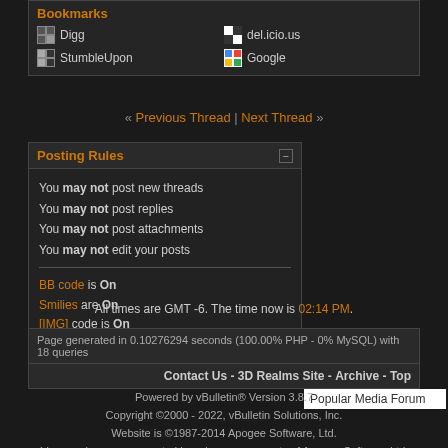Bookmarks
Digg
del.icio.us
StumbleUpon
Google
« Previous Thread | Next Thread »
Posting Rules
You may not post new threads
You may not post replies
You may not post attachments
You may not edit your posts
BB code is On
Smilies are On
[IMG] code is On
HTML code is Off
Forum Rules
Forum Jump
Popular Media Forum
All times are GMT -6. The time now is 02:14 PM.
Page generated in 0.10276294 seconds (100.00% PHP - 0% MySQL) with 18 queries
Contact Us - 3D Realms Site - Archive - Top
Powered by vBulletin® Version 3.8.7
Copyright ©2000 - 2022, vBulletin Solutions, Inc.
Website is ©1987-2014 Apogee Software, Ltd.
Ideas and messages posted here become property of Apogee Software Ltd.